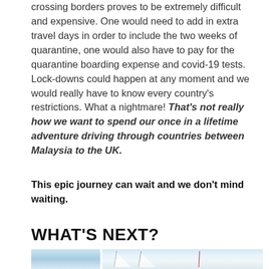crossing borders proves to be extremely difficult and expensive. One would need to add in extra travel days in order to include the two weeks of quarantine, one would also have to pay for the quarantine boarding expense and covid-19 tests. Lock-downs could happen at any moment and we would really have to know every country's restrictions. What a nightmare! That's not really how we want to spend our once in a lifetime adventure driving through countries between Malaysia to the UK.
This epic journey can wait and we don't mind waiting.
WHAT'S NEXT?
[Figure (photo): Two photos side by side showing sailing boats/masts against a light sky background]